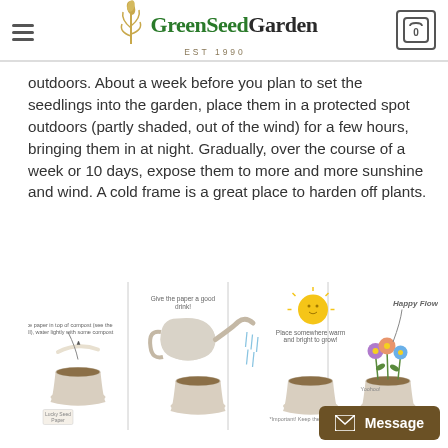GreenSeedGarden EST 1990
outdoors. About a week before you plan to set the seedlings into the garden, place them in a protected spot outdoors (partly shaded, out of the wind) for a few hours, bringing them in at night. Gradually, over the course of a week or 10 days, expose them to more and more sunshine and wind. A cold frame is a great place to harden off plants.
[Figure (illustration): Four-panel illustrated instructional diagram showing steps to grow plants from seed paper: 1) Place paper in pot of compost and water lightly, 2) Give the paper a good drink with a watering can, 3) Place somewhere warm and bright to grow (Important: Keep the paper moist!), 4) Happy Flowers growing in pot (Yay! We are!)]